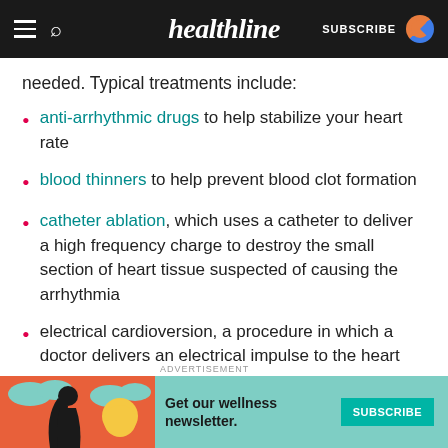healthline — SUBSCRIBE
needed. Typical treatments include:
anti-arrhythmic drugs to help stabilize your heart rate
blood thinners to help prevent blood clot formation
catheter ablation, which uses a catheter to deliver a high frequency charge to destroy the small section of heart tissue suspected of causing the arrhythmia
electrical cardioversion, a procedure in which a doctor delivers an electrical impulse to the heart
[Figure (illustration): Advertisement banner for Healthline wellness newsletter with illustrated woman and teal background. Subscribe button visible.]
ADVERTISEMENT — Get our wellness newsletter. SUBSCRIBE